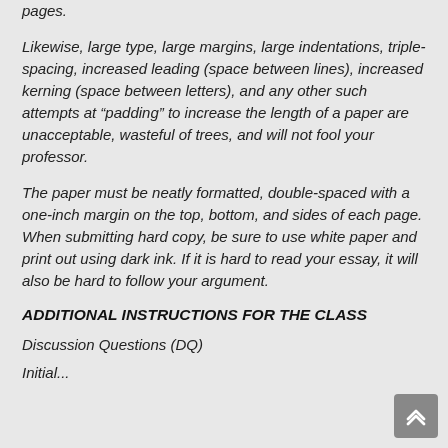pages.
Likewise, large type, large margins, large indentations, triple-spacing, increased leading (space between lines), increased kerning (space between letters), and any other such attempts at “padding” to increase the length of a paper are unacceptable, wasteful of trees, and will not fool your professor.
The paper must be neatly formatted, double-spaced with a one-inch margin on the top, bottom, and sides of each page. When submitting hard copy, be sure to use white paper and print out using dark ink. If it is hard to read your essay, it will also be hard to follow your argument.
ADDITIONAL INSTRUCTIONS FOR THE CLASS
Discussion Questions (DQ)
Initial...